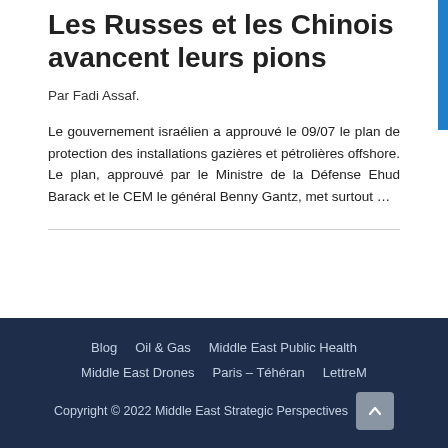Les Russes et les Chinois avancent leurs pions
Par Fadi Assaf.
Le gouvernement israélien a approuvé le 09/07 le plan de protection des installations gazières et pétrolières offshore. Le plan, approuvé par le Ministre de la Défense Ehud Barack et le CEM le général Benny Gantz, met surtout …
Blog   Oil & Gas   Middle East Public Health   Middle East Drones   Paris – Téhéran   LettreM   Copyright © 2022 Middle East Strategic Perspectives